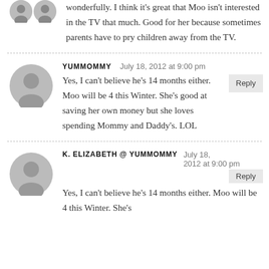wonderfully. I think it's great that Moo isn't interested in the TV that much. Good for her because sometimes parents have to pry children away from the TV.
YUMMOMMY   July 18, 2012 at 9:00 pm
Yes, I can't believe he's 14 months either. Moo will be 4 this Winter. She's good at saving her own money but she loves spending Mommy and Daddy's. LOL
K. ELIZABETH @ YUMMOMMY   July 18, 2012 at 9:00 pm
Yes, I can't believe he's 14 months either. Moo will be 4 this Winter. She's